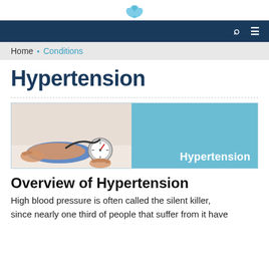[Figure (logo): Decorative lotus/leaf logo icon in light blue at top center]
[Figure (other): Dark navy navigation bar with search and hamburger menu icons on the right]
Home ◦ Conditions
Hypertension
[Figure (photo): Banner image: left half shows a blood pressure cuff being used on a patient's arm; right half is a solid light blue panel with white text 'Hypertension']
Overview of Hypertension
High blood pressure is often called the silent killer, since nearly one third of people that suffer from it have